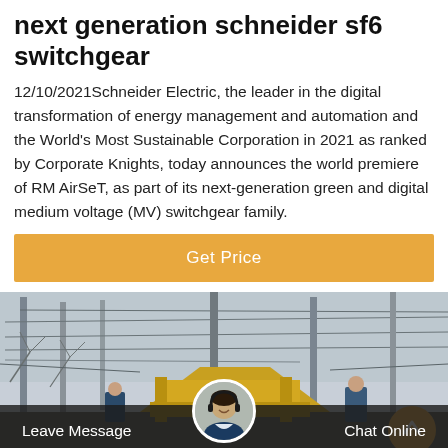next generation schneider sf6 switchgear
12/10/2021Schneider Electric, the leader in the digital transformation of energy management and automation and the World's Most Sustainable Corporation in 2021 as ranked by Corporate Knights, today announces the world premiere of RM AirSeT, as part of its next-generation green and digital medium voltage (MV) switchgear family.
Get Price
[Figure (photo): Outdoor electrical switchgear/substation with yellow equipment and wiring towers, workers visible in background]
Leave Message   Chat Online